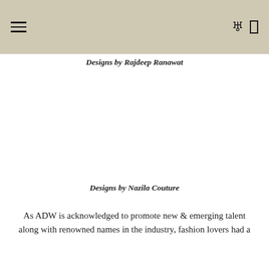Designs by Rajdeep Ranawat
Designs by Nazila Couture
As ADW is acknowledged to promote new & emerging talent along with renowned names in the industry, fashion lovers had a